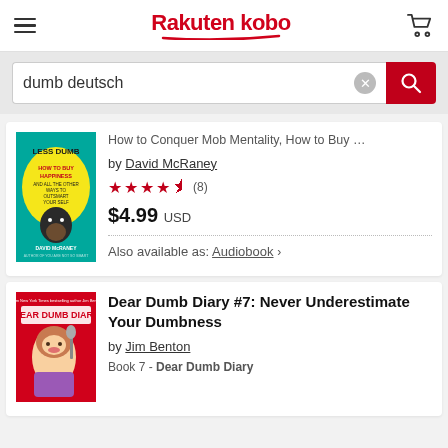Rakuten kobo
dumb deutsch
How to Conquer Mob Mentality, How to Buy …
by David McRaney
4.5 stars (8)
$4.99 USD
Also available as: Audiobook >
Dear Dumb Diary #7: Never Underestimate Your Dumbness
by Jim Benton
Book 7 - Dear Dumb Diary